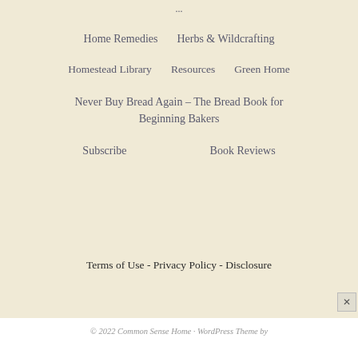Home Remedies
Herbs & Wildcrafting
Homestead Library
Resources
Green Home
Never Buy Bread Again – The Bread Book for Beginning Bakers
Subscribe
Book Reviews
Terms of Use - Privacy Policy - Disclosure
© 2022 Common Sense Home · WordPress Theme by